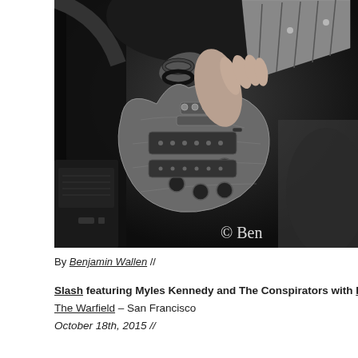[Figure (photo): Black and white close-up photo of a guitarist (Slash) playing a Les Paul guitar on stage. The photo shows hands on the guitar body and neck with bracelets visible. A copyright watermark reads '© Ben' in the lower right corner.]
By Benjamin Wallen //
Slash featuring Myles Kennedy and The Conspirators with RavenEy...
The Warfield – San Francisco
October 18th, 2015 //